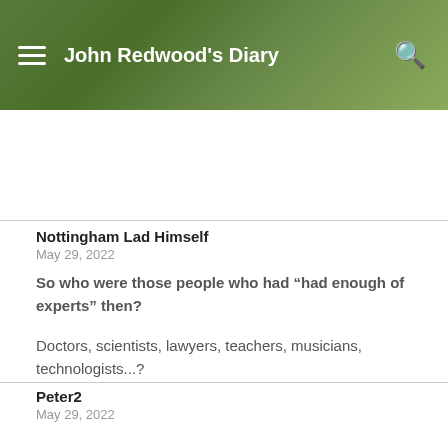John Redwood's Diary
Nottingham Lad Himself
May 29, 2022
So who were those people who had “had enough of experts” then?
Doctors, scientists, lawyers, teachers, musicians, technologists...?
Peter2
May 29, 2022